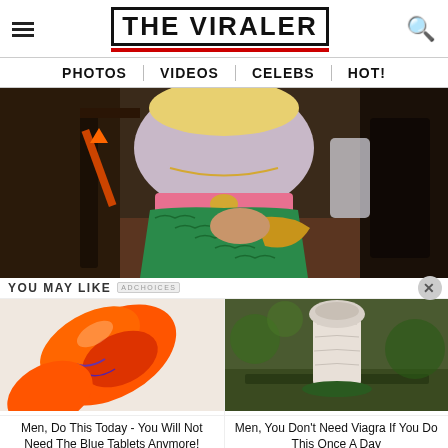THE VIRALER
PHOTOS | VIDEOS | CELEBS | HOT!
[Figure (photo): Person wearing a mermaid costume with green sequin skirt, pink belt, silver top, near a staircase with Halloween decorations]
YOU MAY LIKE
[Figure (photo): Close-up of orange and purple colored capsule/pill]
[Figure (photo): White mushroom or fungus growing from ground with brown background]
Men, Do This Today - You Will Not Need The Blue Tablets Anymore!
Men, You Don't Need Viagra If You Do This Once A Day